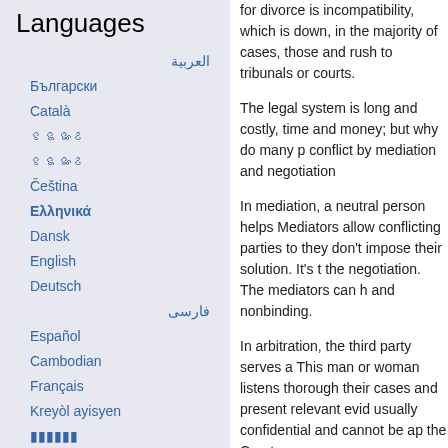Languages
العربية
Български
Català
ꯃꯤꯇꯩ
ꯃꯤꯇꯩ
Čeština
Ελληνικά
Dansk
English
Deutsch
فارسی
Español
Cambodian
Français
Kreyòl ayisyen
मराठी
Bahasa Indonesia
for divorce is incompatibility, which is down, in the majority of cases, those and rush to tribunals or courts.
The legal system is long and costly, time and money; but why do many p conflict by mediation and negotiation
In mediation, a neutral person helps Mediators allow conflicting parties to they don't impose their solution. It's t the negotiation. The mediators can h and nonbinding.
In arbitration, the third party serves a This man or woman listens thorough their cases and present relevant evid usually confidential and cannot be ap the Court.
In mediation and arbitration, the con the settlement is agreed and conflict most mediations are confidential.